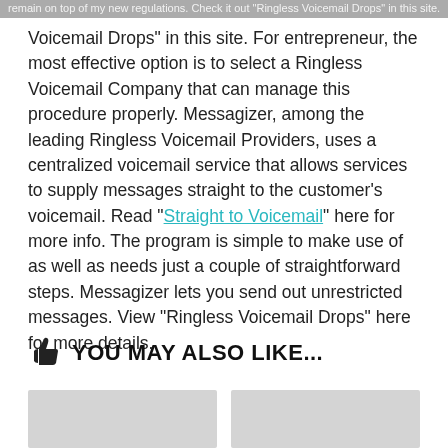remain on top of my new regulations. Check it out "Ringless Voicemail Drops" in this site.
Voicemail Drops" in this site. For entrepreneur, the most effective option is to select a Ringless Voicemail Company that can manage this procedure properly. Messagizer, among the leading Ringless Voicemail Providers, uses a centralized voicemail service that allows services to supply messages straight to the customer’s voicemail. Read “Straight to Voicemail” here for more info. The program is simple to make use of as well as needs just a couple of straightforward steps. Messagizer lets you send out unrestricted messages. View “Ringless Voicemail Drops” here for more details.
YOU MAY ALSO LIKE...
[Figure (photo): Two placeholder image cards side by side]